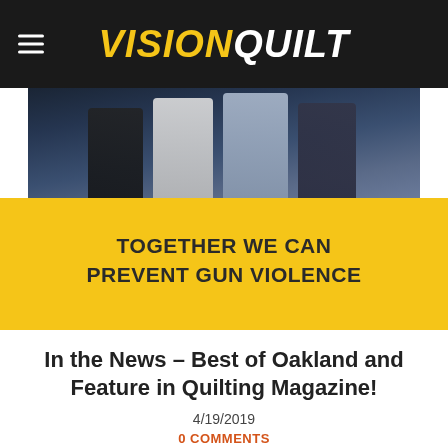VISIONQUILT
[Figure (photo): People standing in a room, photo partially cropped, dark blue tones]
TOGETHER WE CAN PREVENT GUN VIOLENCE
In the News – Best of Oakland and Feature in Quilting Magazine!
4/19/2019
0 COMMENTS